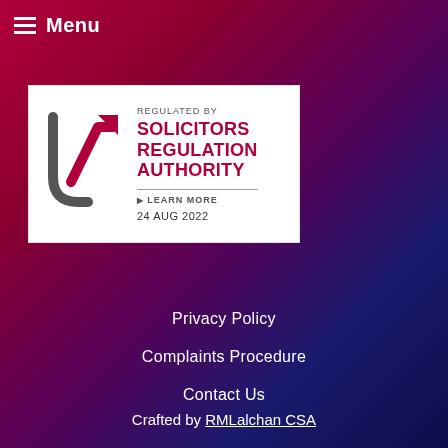Menu
[Figure (logo): Solicitors Regulation Authority badge with text: REGULATED BY SOLICITORS REGULATION AUTHORITY, LEARN MORE, 24 AUG 2022]
Privacy Policy
Complaints Procedure
Contact Us
Crafted by RMLalchan CSA